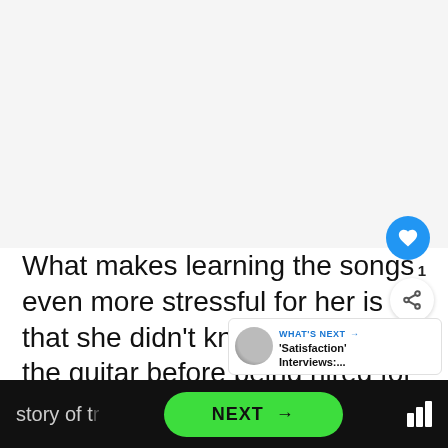[Figure (photo): Large blank/light gray image area at top of page, video thumbnail placeholder]
What makes learning the songs even more stressful for her is that she didn't know how to play the guitar before being hired for Satisfaction. She humorously recounted the story of the audition:
[Figure (infographic): WHAT'S NEXT panel with avatar and text: 'Satisfaction' Interviews:....]
[Figure (other): NEXT button bar at bottom with green rounded NEXT → button and audio/menu icon]